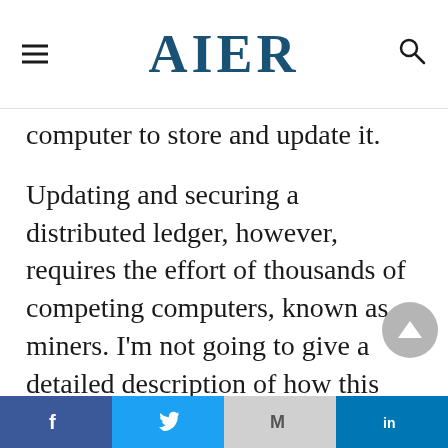AIER
…going past, you only need one computer to store and update it.
Updating and securing a distributed ledger, however, requires the effort of thousands of competing computers, known as miners. I'm not going to give a detailed description of how this process works. (Try here). Suffice to say, the process of building a trustworthy ledger, one that is accurately stored across many computers rather than on a single one, requires a massive sacrifice of electricity by miners…
Facebook | Twitter | Mail | LinkedIn